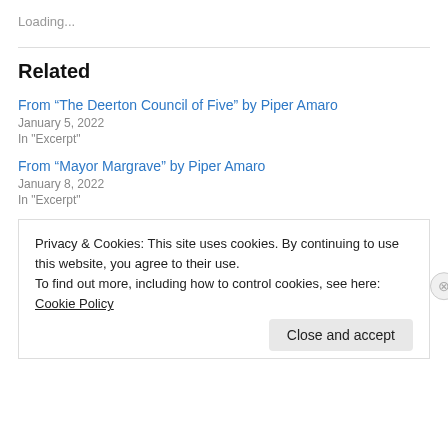Loading...
Related
From “The Deerton Council of Five” by Piper Amaro
January 5, 2022
In "Excerpt"
From “Mayor Margrave” by Piper Amaro
January 8, 2022
In "Excerpt"
Privacy & Cookies: This site uses cookies. By continuing to use this website, you agree to their use.
To find out more, including how to control cookies, see here: Cookie Policy
Close and accept